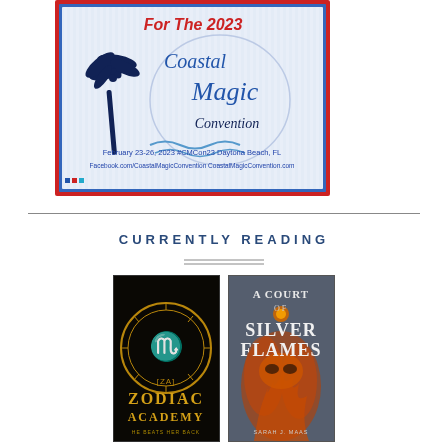[Figure (illustration): Coastal Magic Convention 2023 promotional banner with palm tree, ocean waves, and text: 'For The 2023 Coastal Magic Convention, February 23-26, 2023 #CMCon23 Daytona Beach, FL, Facebook.com/CoastalMagicConvention CoastalMagicConvention.com'. Red and blue border frame.]
CURRENTLY READING
[Figure (illustration): Book cover of Zodiac Academy - dark gold zodiac wheel design]
[Figure (illustration): Book cover of A Court of Silver Flames - grey background with orange decorative mask and flames]